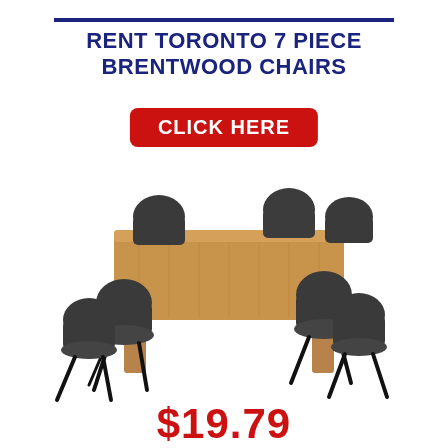RENT TORONTO 7 PIECE BRENTWOOD CHAIRS
[Figure (illustration): A red rounded-rectangle button with white bold text reading CLICK HERE]
[Figure (photo): A dining room set consisting of a wooden rectangular table with natural oak finish and six dark grey upholstered chairs with black metal legs]
$19.79